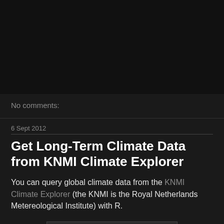[Figure (screenshot): Dark/black top area of a webpage screenshot]
No comments:
6 Sept 2012
Get Long-Term Climate Data from KNMI Climate Explorer
You can query global climate data from the KNMI Climate Explorer (the KNMI is the Royal Netherlands Metereological Institute) with R.
[Figure (screenshot): Partial screenshot visible at bottom of page]